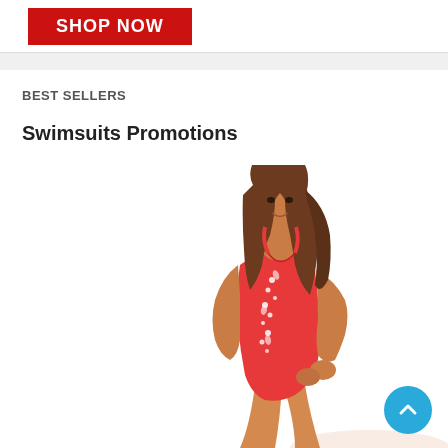[Figure (other): Red 'SHOP NOW' button banner at the top of the page]
BEST SELLERS
Swimsuits Promotions
[Figure (photo): A woman wearing a red one-piece swimsuit with white floral embroidery, posing sideways and smiling, on a white background]
[Figure (other): Cyan/blue circular scroll-to-top button with an upward chevron arrow, bottom right corner]